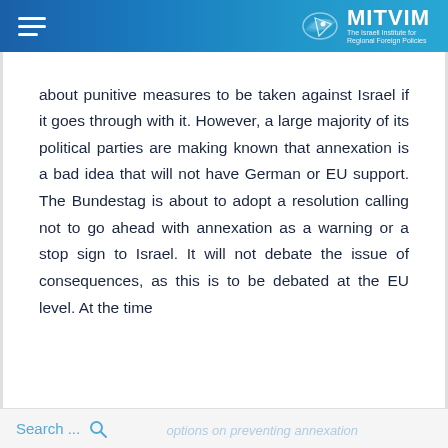MITVIM - The Israeli Institute for Regional Foreign Policies
about punitive measures to be taken against Israel if it goes through with it. However, a large majority of its political parties are making known that annexation is a bad idea that will not have German or EU support. The Bundestag is about to adopt a resolution calling not to go ahead with annexation as a warning or a stop sign to Israel. It will not debate the issue of consequences, as this is to be debated at the EU level. At the time
Search ...  [options on preventing annexation]